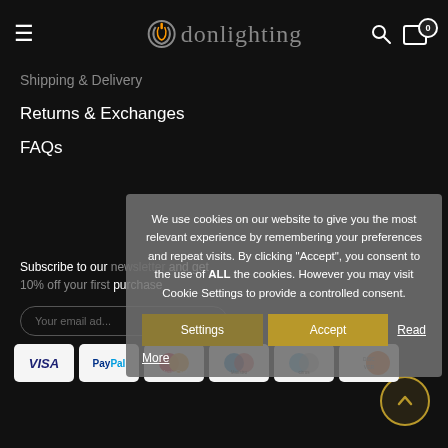donlighting
Shipping & Delivery
Returns & Exchanges
FAQs
Subscribe to our newsletter and get 10% off your first purchase
We use cookies on our website to give you the most relevant experience by remembering your preferences and repeat visits. By clicking "Accept", you consent to the use of ALL the cookies. However you may visit Cookie Settings to provide a controlled consent.
[Figure (screenshot): Cookie consent overlay with Settings and Accept buttons, and Read More link]
[Figure (infographic): Payment method icons: VISA, PayPal, MasterCard, Maestro, Cirrus, Discover]